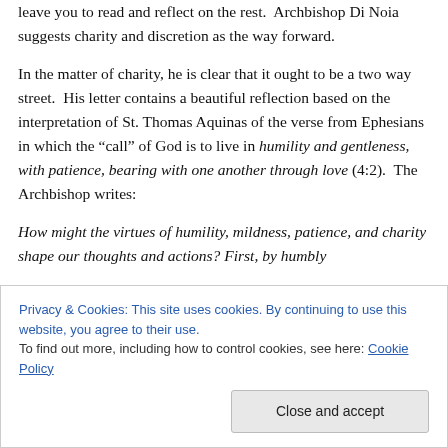leave you to read and reflect on the rest.  Archbishop Di Noia suggests charity and discretion as the way forward.
In the matter of charity, he is clear that it ought to be a two way street.  His letter contains a beautiful reflection based on the interpretation of St. Thomas Aquinas of the verse from Ephesians in which the “call” of God is to live in humility and gentleness, with patience, bearing with one another through love (4:2).  The Archbishop writes:
How might the virtues of humility, mildness, patience, and charity shape our thoughts and actions? First, by humbly
Privacy & Cookies: This site uses cookies. By continuing to use this website, you agree to their use.
To find out more, including how to control cookies, see here: Cookie Policy